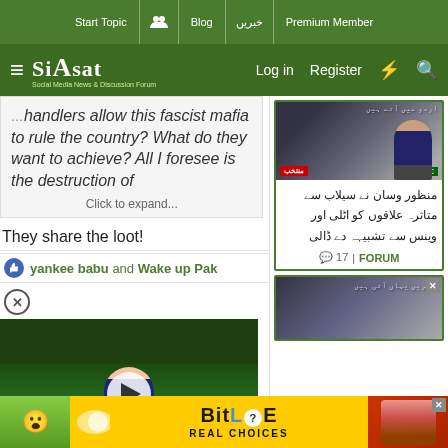Start Topic | Blog | خبریں | Premium Member
Siasat.pk — Log in | Register
handlers allow this fascist mafia to rule the country? What do they want to achieve? All I foresee is the destruction of
Click to expand...
They share the loot!
yankee babu and Wake up Pak
[Figure (screenshot): Video thumbnail showing a man in a suit and tie speaking in what appears to be the UK Parliament (House of Commons green benches visible in background). A white play button circle is overlaid.]
منظور وسان نے سیلاب سے متاثرہ علاقوں کو اٹلی اور وینس سے تشبیہہ دے ڈالی
17 | FORUM
[Figure (screenshot): Partial news image on right sidebar, with a close X button.]
[Figure (screenshot): BitLife advertisement banner: 'BitLife REAL CHOICES' in bold on orange/yellow background, with emoji characters and question mark icon.]